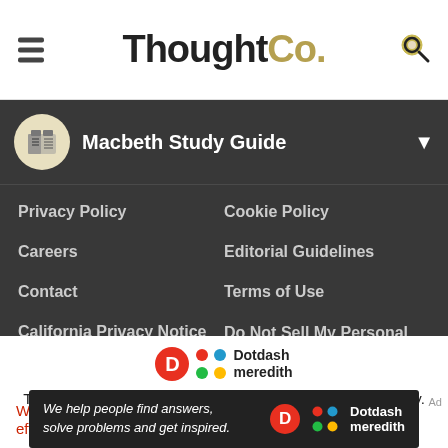ThoughtCo.
Macbeth Study Guide
Privacy Policy
Cookie Policy
Careers
Editorial Guidelines
Contact
Terms of Use
California Privacy Notice
Do Not Sell My Personal Information
[Figure (logo): Dotdash Meredith logo with D circle and dots pattern]
ThoughtCo is part of the Dotdash Meredith publishing family.
We've updated our Privacy Policy, which will go in to effect on
[Figure (infographic): Dotdash Meredith ad banner: We help people find answers, solve problems and get inspired.]